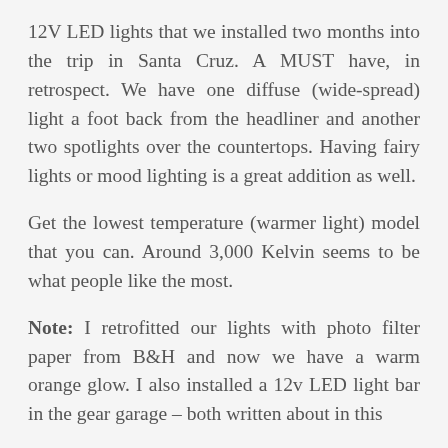12V LED lights that we installed two months into the trip in Santa Cruz. A MUST have, in retrospect. We have one diffuse (wide-spread) light a foot back from the headliner and another two spotlights over the countertops. Having fairy lights or mood lighting is a great addition as well.
Get the lowest temperature (warmer light) model that you can. Around 3,000 Kelvin seems to be what people like the most.
Note: I retrofitted our lights with photo filter paper from B&H and now we have a warm orange glow. I also installed a 12v LED light bar in the gear garage – both written about in this